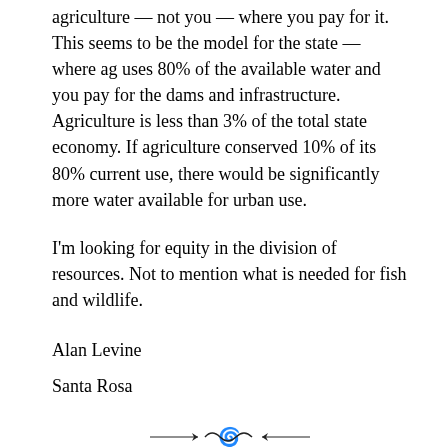agriculture — not you — where you pay for it. This seems to be the model for the state — where ag uses 80% of the available water and you pay for the dams and infrastructure. Agriculture is less than 3% of the total state economy. If agriculture conserved 10% of its 80% current use, there would be significantly more water available for urban use.
I'm looking for equity in the division of resources. Not to mention what is needed for fish and wildlife.
Alan Levine
Santa Rosa
[Figure (illustration): Decorative ornamental divider line with swirls]
RED BADGE OF COURAGE?